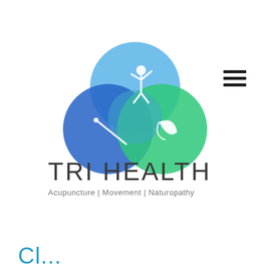[Figure (logo): Tri Health logo: three overlapping circles in blue, teal, and green with a human figure, acupuncture needle, and leaf icons. Text reads TRI HEALTH with tagline Acupuncture | Movement | Naturopathy.]
[Figure (other): Hamburger menu icon (three horizontal black lines) positioned in upper right area.]
Cl...